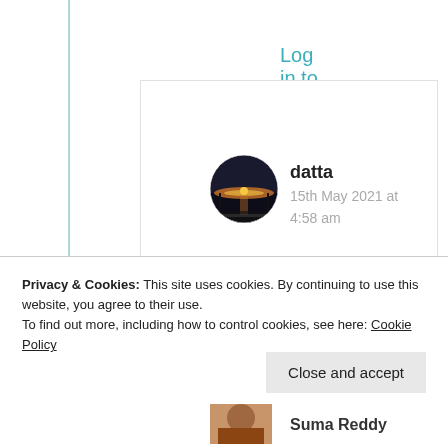Log in to Reply
[Figure (photo): Circular avatar photo of user 'datta' showing a sunset/landscape scene]
datta
15th May 2021 at 4:58 am
Haudari! 🌺🙏🌺
Privacy & Cookies: This site uses cookies. By continuing to use this website, you agree to their use. To find out more, including how to control cookies, see here: Cookie Policy
Close and accept
Suma Reddy